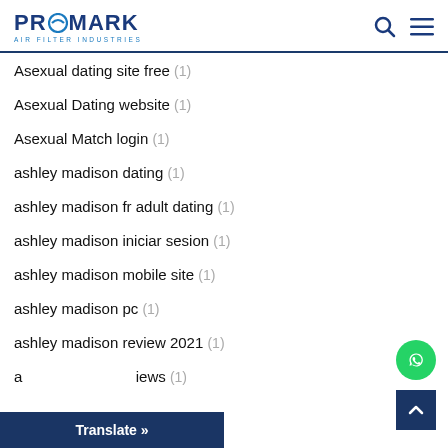PROMARK AIR FILTER INDUSTRIES
Asexual dating site free (1)
Asexual Dating website (1)
Asexual Match login (1)
ashley madison dating (1)
ashley madison fr adult dating (1)
ashley madison iniciar sesion (1)
ashley madison mobile site (1)
ashley madison pc (1)
ashley madison review 2021 (1)
ashley madison reviews (1)